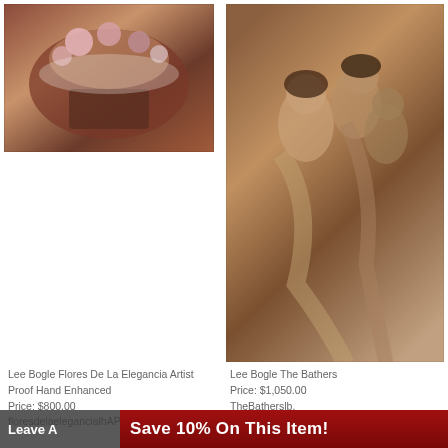[Figure (photo): Painting of a flower-adorned basket/fan on decorative fabric background - Lee Bogle Flores De La Elegancia]
[Figure (photo): Painting of three figures in flowing garments - Lee Bogle The Bathers]
Lee Bogle Flores De La Elegancia Artist Proof Hand Enhanced
Price: $800.00
floresdelaelegancialhAP
Lee Bogle The Bathers
Price: $1,050.00
TheBatherslb.
Layaway with 3 pymts of $350.00
[Figure (photo): Painting of a Native American woman with head tilted back, long dark hair with feathers]
[Figure (photo): Painting of a Native American woman holding a red clay pot with feathered headdress]
Leave A
Save 10% On This Item!